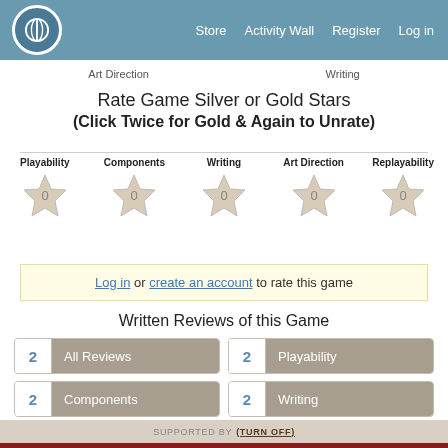Store  Activity Wall  Register  Log in
Art Direction   Writing
Rate Game Silver or Gold Stars (Click Twice for Gold & Again to Unrate)
[Figure (other): Five star rating icons (all showing 0) for categories: Playability, Components, Writing, Art Direction, Replayability]
Log in or create an account to rate this game
Written Reviews of this Game
2  All Reviews | 2  Playability | 2  Components | 2  Writing | 2  Art Direction | 2  Replayability
SUPPORTED BY (TURN OFF)